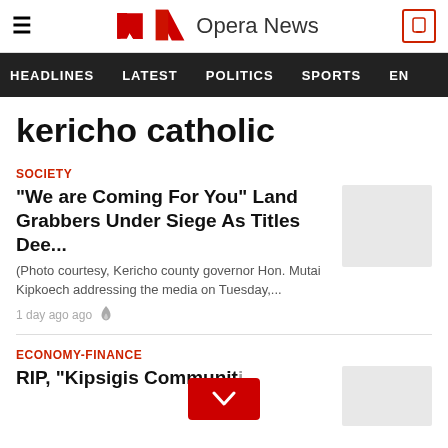Opera News
HEADLINES   LATEST   POLITICS   SPORTS   EN...
kericho catholic
SOCIETY
"We are Coming For You" Land Grabbers Under Siege As Titles Dee...
(Photo courtesy, Kericho county governor Hon. Mutai Kipkoech addressing the media on Tuesday,...
1 day ago ago
ECONOMY-FINANCE
RIP, "Kipsigis Communit...